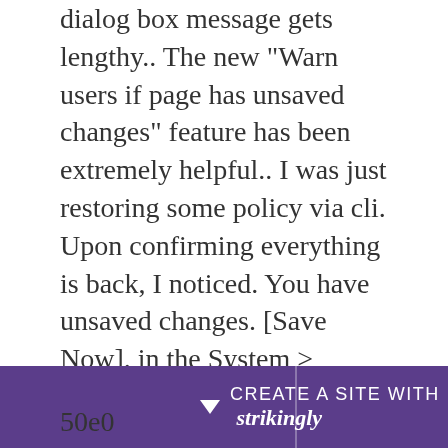dialog box message gets lengthy.. The new "Warn users if page has unsaved changes" feature has been extremely helpful.. I was just restoring some policy via cli. Upon confirming everything is back, I noticed. You have unsaved changes. [Save Now]. in the System > Dashboard.... var unsaved = false; $(":input").change(function(){ //triggers change in all input fields ... form_state){ var message = "You have unsaved changes on this page.. Today, we&#39;ve improved your offline experience by adding unsaved changes indicators. If you&#39;re creating, editing, commenting, or adding a message to a Quip...
50e0
[Figure (other): Purple banner at the bottom with a downward arrow icon, text 'CREATE A SITE WITH strikingly' in white]